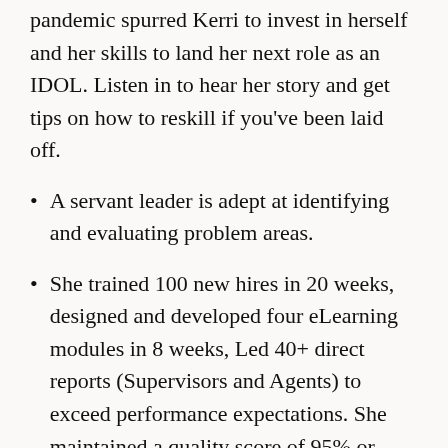pandemic spurred Kerri to invest in herself and her skills to land her next role as an IDOL. Listen in to hear her story and get tips on how to reskill if you've been laid off.
A servant leader is adept at identifying and evaluating problem areas.
She trained 100 new hires in 20 weeks, designed and developed four eLearning modules in 8 weeks, Led 40+ direct reports (Supervisors and Agents) to exceed performance expectations. She maintained a quality score of 95% or higher for over 3 years.